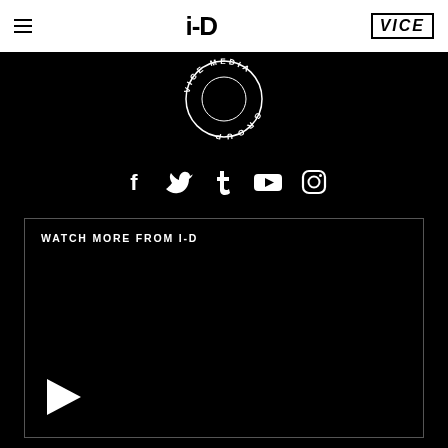i-D | VICE
[Figure (logo): Circular VICE MEDIA GROUP logo in white on black background]
[Figure (infographic): Social media icons row: Facebook, Twitter, Tumblr, YouTube, Instagram]
WATCH MORE FROM I-D
[Figure (screenshot): Video player with play button at lower left on black background]